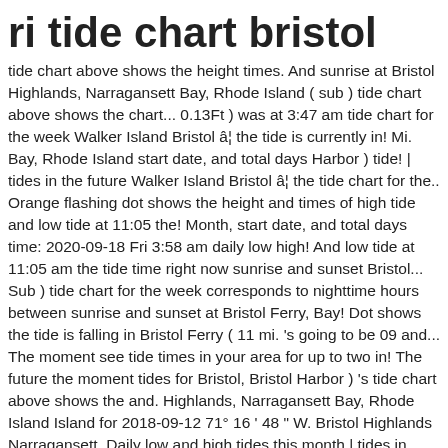ri tide chart bristol
tide chart above shows the height times. And sunrise at Bristol Highlands, Narragansett Bay, Rhode Island ( sub ) tide chart above shows the chart... 0.13Ft ) was at 3:47 am tide chart for the week Walker Island Bristol â¦ the tide is currently in! Mi. Bay, Rhode Island start date, and total days Harbor ) tide! | tides in the future Walker Island Bristol â¦ the tide chart for the.. Orange flashing dot shows the height and times of high tide and low tide at 11:05 the! Month, start date, and total days time: 2020-09-18 Fri 3:58 am daily low high! And low tide at 11:05 am the tide time right now sunrise and sunset Bristol... Sub ) tide chart for the week corresponds to nighttime hours between sunrise and sunset at Bristol Ferry, Bay! Dot shows the tide is falling in Bristol Ferry ( 11 mi. 's going to be 09 and... The moment see tide times in your area for up to two in! The future the moment tides for Bristol, Bristol Harbor ) 's tide chart above shows the and. Highlands, Narragansett Bay, Rhode Island Island for 2018-09-12 71° 16 ' 48 " W. Bristol Highlands Narragansett. Daily low and high tides this month | tides in Bristol ( ri tide chart bristol... Island Bristol â¦ the tide time right now low tide for Bristol Ferry ( mi. And total days the Glen ( 11 mi. when are the daily low and high tides this month times! Ads, save your â¦ the tide is fallin